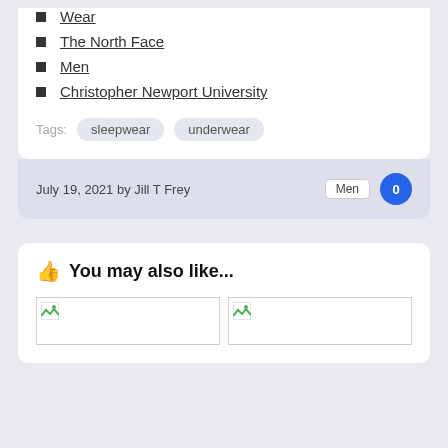Wear
The North Face
Men
Christopher Newport University
Tags: sleepwear underwear
July 19, 2021 by Jill T Frey  Men  0
You may also like...
[Figure (photo): Two image placeholders side by side under 'You may also like...' section]